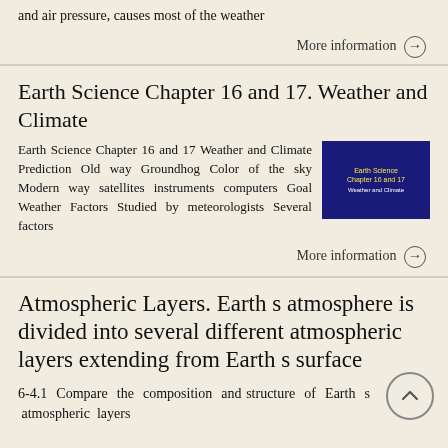and air pressure, causes most of the weather
More information →
Earth Science Chapter 16 and 17. Weather and Climate
Earth Science Chapter 16 and 17 Weather and Climate Prediction Old way Groundhog Color of the sky Modern way satellites instruments computers Goal Weather Factors Studied by meteorologists Several factors
[Figure (screenshot): Dark blue slide thumbnail showing 'Earth Science Chapter 16 and 17 Weather and Climate' text in yellow on dark blue background]
More information →
Atmospheric Layers. Earth s atmosphere is divided into several different atmospheric layers extending from Earth s surface
6-4.1 Compare the composition and structure of Earth s atmospheric layers